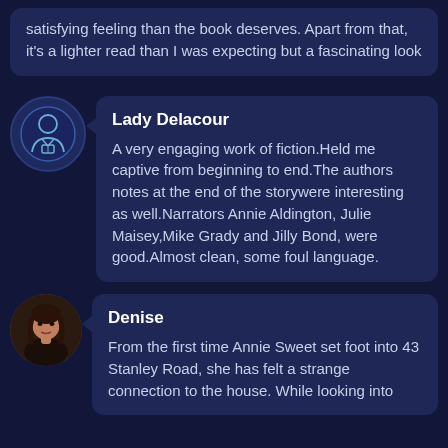satisfying feeling than the book deserves. Apart from that, it's a lighter read than I was expecting but a fascinating look
Lady Delacour
A very engaging work of fiction.Held me captive from beginning to end.The authors notes at the end of the storywere interesting as well.Narrators Annie Aldington, Julie Maisey,Mike Grady and Jilly Bond, were good.Almost clean, some foul language.
Denise
From the first time Annie Sweet set foot into 43 Stanley Road, she has felt a strange connection to the house. While looking into